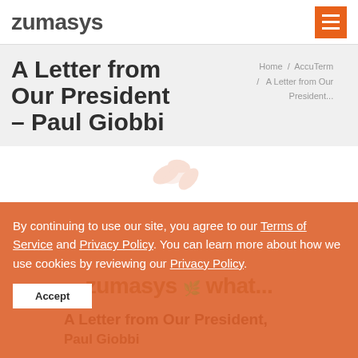zumasys
A Letter from Our President – Paul Giobbi
Home / AccuTerm / A Letter from Our President...
[Figure (logo): Zumasys watermark logo — faint orange leaf/swoosh icon in center of white area]
By continuing to use our site, you agree to our Terms of Service and Privacy Policy. You can learn more about how we use cookies by reviewing our Privacy Policy.
Accept